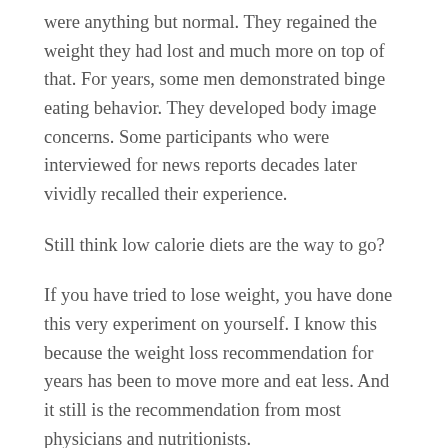were anything but normal. They regained the weight they had lost and much more on top of that. For years, some men demonstrated binge eating behavior. They developed body image concerns. Some participants who were interviewed for news reports decades later vividly recalled their experience.
Still think low calorie diets are the way to go?
If you have tried to lose weight, you have done this very experiment on yourself. I know this because the weight loss recommendation for years has been to move more and eat less. And it still is the recommendation from most physicians and nutritionists.